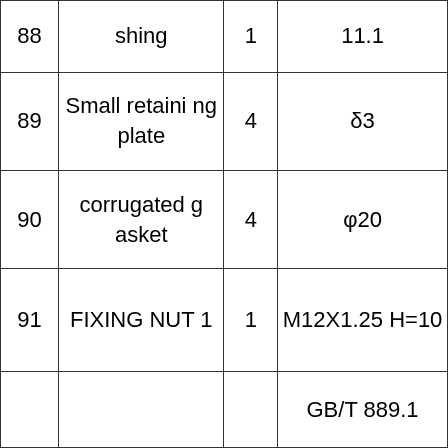| 88 | shing | 1 | 11.1 |
| 89 | Small retaining plate | 4 | δ3 |
| 90 | corrugated gasket | 4 | φ20 |
| 91 | FIXING NUT 1 | 1 | M12X1.25 H=10 |
|  |  |  | GB/T 889.1 |